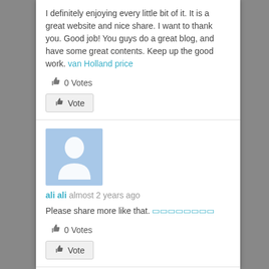I definitely enjoying every little bit of it. It is a great website and nice share. I want to thank you. Good job! You guys do a great blog, and have some great contents. Keep up the good work. van Holland price
0 Votes
Vote
[Figure (illustration): Default user avatar silhouette in light blue square]
ali ali almost 2 years ago
Please share more like that. ◻◻◻◻◻◻◻◻
0 Votes
Vote
[Figure (logo): NK logo in gold and white on black background]